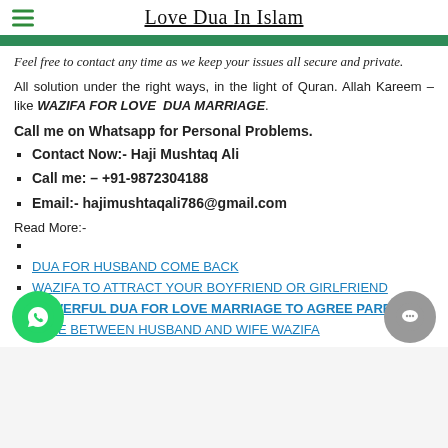Love Dua In Islam
Feel free to contact any time as we keep your issues all secure and private.
All solution under the right ways, in the light of Quran. Allah Kareem – like WAZIFA FOR LOVE  DUA MARRIAGE.
Call me on Whatsapp for Personal Problems.
Contact Now:- Haji Mushtaq Ali
Call me: – +91-9872304188
Email:- hajimushtaqali786@gmail.com
Read More:-
DUA FOR HUSBAND COME BACK
WAZIFA TO ATTRACT YOUR BOYFRIEND OR GIRLFRIEND
POWERFUL DUA FOR LOVE MARRIAGE TO AGREE PARENTS
LOVE BETWEEN HUSBAND AND WIFE WAZIFA